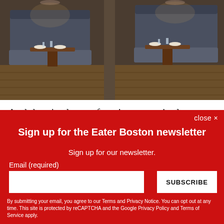[Figure (photo): Interior of a restaurant dining room with dark leather booth seating, wooden tables set with plates and glasses, and moody ambient lighting.]
And there’s plenty of caviar; try a single taste, a flight of four, or a half ounce, served with a Portuguese “English muffin”
close ×
Sign up for the Eater Boston newsletter
Sign up for our newsletter.
Email (required)
SUBSCRIBE
By submitting your email, you agree to our Terms and Privacy Notice. You can opt out at any time. This site is protected by reCAPTCHA and the Google Privacy Policy and Terms of Service apply.